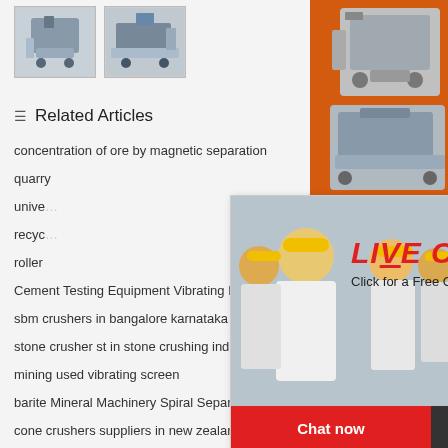[Figure (photo): Two small thumbnail images of industrial machinery/equipment]
Related Articles
concentration of ore by magnetic separation
quarry
universal
recyc
roller
Cement Testing Equipment Vibrating Machine
sbm crushers in bangalore karnataka india
stone crusher st in stone crushing industry
mining used vibrating screen
barite Mineral Machinery Spiral Separator For
cone crushers suppliers in new zealand
[Figure (photo): Right sidebar with orange background showing mining/crushing machinery images, discount offer, click to chat, enquiry and email limingjlmofen@sina.com]
[Figure (screenshot): Live Chat popup overlay with workers in hard hats, LIVE CHAT heading, Chat now and Chat later buttons]